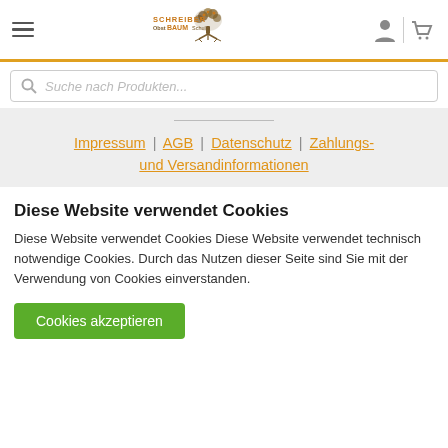[Figure (logo): Schreiber ObstBAUMSchule logo with tree illustration and navigation icons (hamburger menu, user icon, cart icon)]
Suche nach Produkten...
Impressum | AGB | Datenschutz | Zahlungs- und Versandinformationen
Diese Website verwendet Cookies
Diese Website verwendet Cookies Diese Website verwendet technisch notwendige Cookies. Durch das Nutzen dieser Seite sind Sie mit der Verwendung von Cookies einverstanden.
Cookies akzeptieren